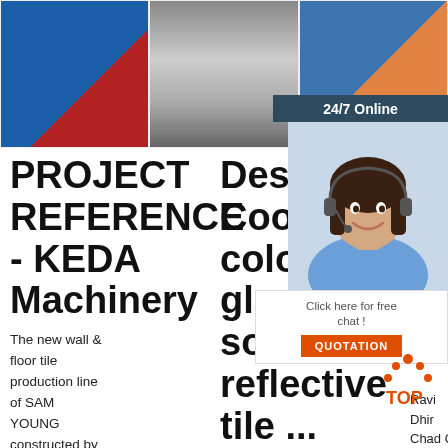[Figure (photo): Three product/machinery photos in a row at the top: left shows blue industrial tube mill machine, center shows metallic rail/profile pieces, right shows blue industrial production line in factory]
24/7 Online
[Figure (photo): Customer service woman wearing headset, smiling]
Click here for free chat !
QUOTATION
PROJECT REFERENCE - KEDA Machinery
The new wall & floor tile production line of SAM YOUNG constructed by
Design Cool color glaze for solar reflective tile ...
2015-11-1μ2002μ2002Solar
Gl an ov
Ravi Dhir Chad Qun Lye, in Sustainable Construction Materials, 2018. 9.2.6